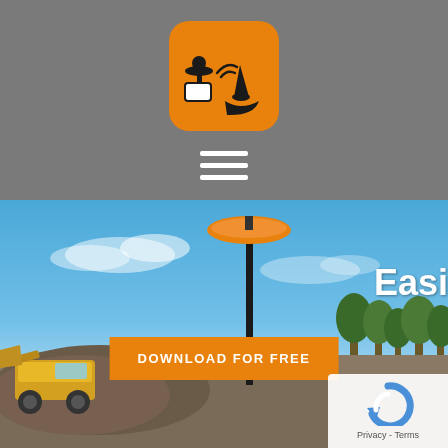[Figure (logo): App icon with orange rounded square background containing GPS antenna and cone/arrow symbols in black]
[Figure (other): Hamburger menu icon with three white horizontal bars]
[Figure (photo): Construction site photo with a front loader / wheel loader on gravel, blue sky, trees in background, GPS/GNSS rover antenna pole in center, tablet device at bottom right showing a map, and orange DOWNLOAD FOR FREE button overlay. Partial text 'Easi' visible at right edge in white.]
DOWNLOAD FOR FREE
Easi
Privacy - Terms